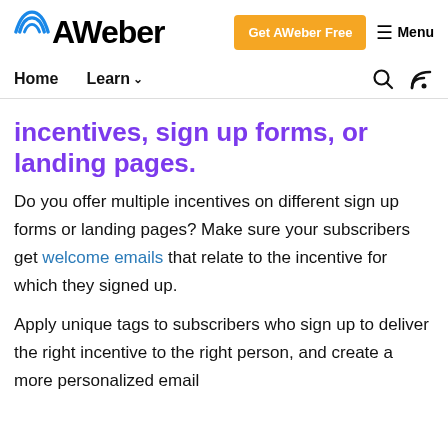AWeber | Get AWeber Free | Menu
Home | Learn
incentives, sign up forms, or landing pages.
Do you offer multiple incentives on different sign up forms or landing pages? Make sure your subscribers get welcome emails that relate to the incentive for which they signed up.
Apply unique tags to subscribers who sign up to deliver the right incentive to the right person, and create a more personalized email